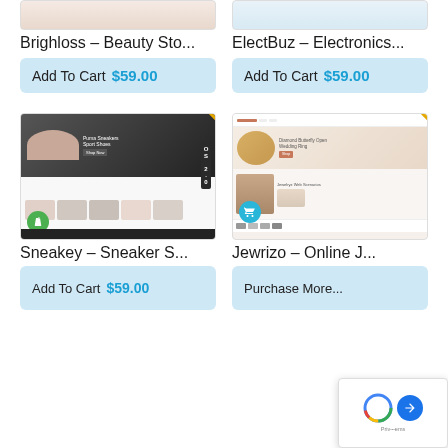[Figure (screenshot): Partial screenshot of Brighloss Beauty Store theme thumbnail at top]
[Figure (screenshot): Partial screenshot of ElectBuz Electronics theme thumbnail at top]
Brighloss – Beauty Sto...
ElectBuz – Electronics...
Add To Cart  $59.00
Add To Cart  $59.00
[Figure (screenshot): Sneakey Sneaker Store Shopify theme screenshot with RESPONSIVE badge and OS 2.0 label, Shopify badge bottom left]
[Figure (screenshot): Jewrizo Online Jewelry store theme screenshot with RESPONSIVE badge, cart badge bottom left]
Sneakey – Sneaker S...
Jewrizo – Online J...
Add To Cart  $59.00
...